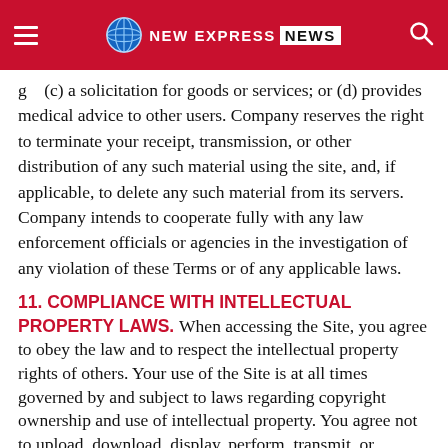NEW EXPRESS NEWS
g ... (c) a solicitation for goods or services; or (d) provides medical advice to other users. Company reserves the right to terminate your receipt, transmission, or other distribution of any such material using the site, and, if applicable, to delete any such material from its servers. Company intends to cooperate fully with any law enforcement officials or agencies in the investigation of any violation of these Terms or of any applicable laws.
11. COMPLIANCE WITH INTELLECTUAL PROPERTY LAWS.
When accessing the Site, you agree to obey the law and to respect the intellectual property rights of others. Your use of the Site is at all times governed by and subject to laws regarding copyright ownership and use of intellectual property. You agree not to upload, download, display, perform, transmit, or otherwise distribute any